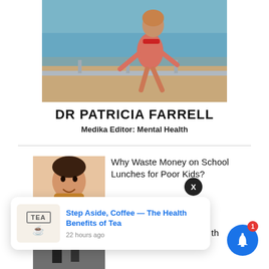[Figure (photo): Person in pink shirt and red bandana running outdoors near the ocean/water]
DR PATRICIA FARRELL
Medika Editor: Mental Health
[Figure (photo): Child eating food, article thumbnail]
Why Waste Money on School Lunches for Poor Kids?
[Figure (infographic): Tea box and tea cup notification popup: Step Aside, Coffee — The Health Benefits of Tea, 22 hours ago]
[Figure (photo): Black and white article thumbnail]
The Poor May Die While the Rich Will Play